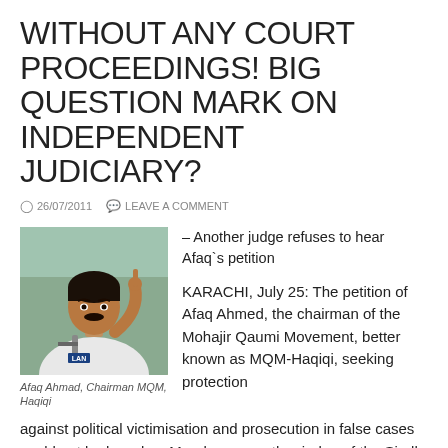WITHOUT ANY COURT PROCEEDINGS! BIG QUESTION MARK ON INDEPENDENT JUDICIARY?
26/07/2011  LEAVE A COMMENT
[Figure (photo): Photo of Afaq Ahmad, Chairman MQM, Haqiqi — a man in a white shirt raising his index finger, speaking at a microphone, with a blurred outdoor background.]
Afaq Ahmad, Chairman MQM, Haqiqi
– Another judge refuses to hear Afaq`s petition
KARACHI, July 25: The petition of Afaq Ahmed, the chairman of the Mohajir Qaumi Movement, better known as MQM-Haqiqi, seeking protection against political victimisation and prosecution in false cases could not be heard on Monday as another judge of the Sindh High Court refused to proceed with the matter.